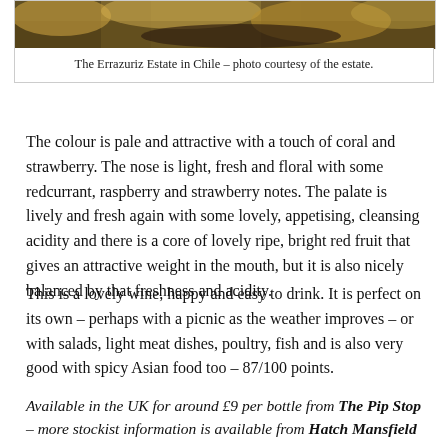[Figure (photo): Photograph of the Errazuriz Estate in Chile showing vineyard landscape with autumn foliage]
The Errazuriz Estate in Chile – photo courtesy of the estate.
The colour is pale and attractive with a touch of coral and strawberry. The nose is light, fresh and floral with some redcurrant, raspberry and strawberry notes. The palate is lively and fresh again with some lovely, appetising, cleansing acidity and there is a core of lovely ripe, bright red fruit that gives an attractive weight in the mouth, but it is also nicely balanced by that freshness and acidity.
This is a lovely wine, happy and easy to drink. It is perfect on its own – perhaps with a picnic as the weather improves – or with salads, light meat dishes, poultry, fish and is also very good with spicy Asian food too – 87/100 points.
Available in the UK for around £9 per bottle from The Pip Stop – more stockist information is available from Hatch Mansfield